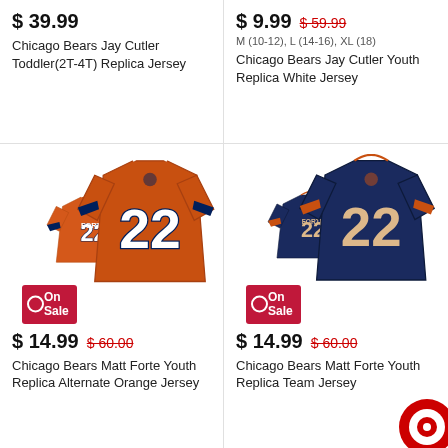$ 39.99
Chicago Bears Jay Cutler Toddler(2T-4T) Replica Jersey
$ 9.99  $ 59.99
M (10-12), L (14-16), XL (18)
Chicago Bears Jay Cutler Youth Replica White Jersey
[Figure (photo): Orange Chicago Bears #22 Matt Forte jersey (front and back view) with On Sale badge]
$ 14.99  $ 60.00
Chicago Bears Matt Forte Youth Replica Alternate Orange Jersey
[Figure (photo): Navy blue Chicago Bears #22 Matt Forte jersey (front and back view) with On Sale badge]
$ 14.99  $ 60.00
Chicago Bears Matt Forte Youth Replica Team Jersey